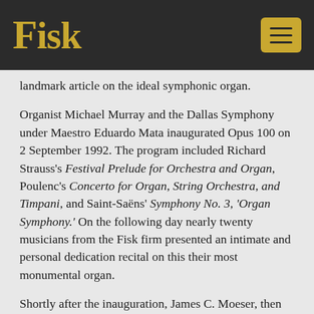Fisk
landmark article on the ideal symphonic organ.
Organist Michael Murray and the Dallas Symphony under Maestro Eduardo Mata inaugurated Opus 100 on 2 September 1992. The program included Richard Strauss's Festival Prelude for Orchestra and Organ, Poulenc's Concerto for Organ, String Orchestra, and Timpani, and Saint-Saëns' Symphony No. 3, 'Organ Symphony.' On the following day nearly twenty musicians from the Fisk firm presented an intimate and personal dedication recital on this their most monumental organ.
Shortly after the inauguration, James C. Moeser, then President of the American Guild of Organists, wrote "...I would argue that the Meyerson Symphony Center and the new Fisk organ are alone worth a trip to Dallas just for the visual and architectural splendor of both the organ and the